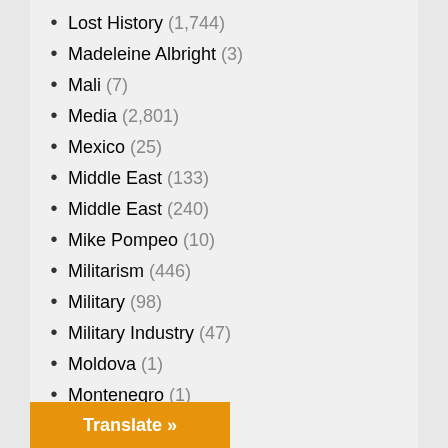Lost History (1,744)
Madeleine Albright (3)
Mali (7)
Media (2,801)
Mexico (25)
Middle East (133)
Middle East (240)
Mike Pompeo (10)
Militarism (446)
Military (98)
Military Industry (47)
Moldova (1)
Montenegro (1)
Music (6)
NATO (14)
Nazism (4)
New Zealand (3)
New Zealand (3)
…is (41)